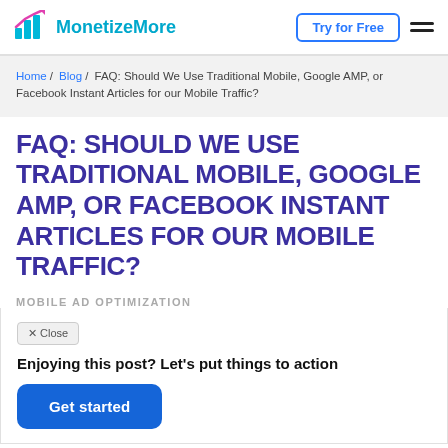MonetizeMore | Try for Free
Home / Blog / FAQ: Should We Use Traditional Mobile, Google AMP, or Facebook Instant Articles for our Mobile Traffic?
FAQ: SHOULD WE USE TRADITIONAL MOBILE, GOOGLE AMP, OR FACEBOOK INSTANT ARTICLES FOR OUR MOBILE TRAFFIC?
MOBILE AD OPTIMIZATION
× Close
Enjoying this post? Let's put things to action
Get started